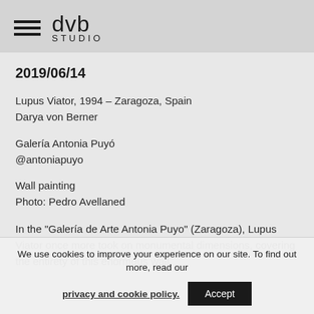dvb STUDIO
2019/06/14
Lupus Viator, 1994 – Zaragoza, Spain
Darya von Berner
Galería Antonia Puyó
@antoniapuyo
Wall painting
Photo: Pedro Avellaned
In the "Galería de Arte Antonia Puyo" (Zaragoza), Lupus Viator once more took on monumental dimensions, covering the entirety of this enormous wall.
We use cookies to improve your experience on our site. To find out more, read our privacy and cookie policy.